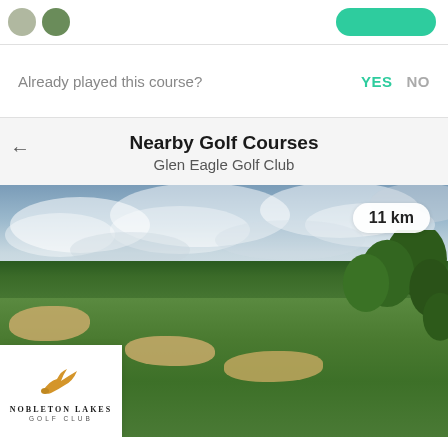[Figure (screenshot): Top bar with two avatar icons and a green button]
Already played this course?  YES  NO
Nearby Golf Courses
Glen Eagle Golf Club
[Figure (photo): Golf course photo showing green fairway with sand bunkers, tree line, and cloudy sky. Distance badge showing '11 km'. Nobleton Lakes Golf Club logo overlay in bottom-left corner.]